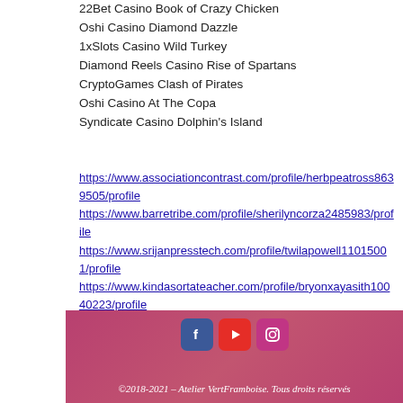22Bet Casino Book of Crazy Chicken
Oshi Casino Diamond Dazzle
1xSlots Casino Wild Turkey
Diamond Reels Casino Rise of Spartans
CryptoGames Clash of Pirates
Oshi Casino At The Copa
Syndicate Casino Dolphin's Island
https://www.associationcontrast.com/profile/herbpeatross8639505/profile
https://www.barretribe.com/profile/sherilyncorza2485983/profile
https://www.srijanpresstech.com/profile/twilapowell11015001/profile
https://www.kindasortateacher.com/profile/bryonxayasith10040223/profile
©2018-2021 – Atelier VertFramboise. Tous droits réservés